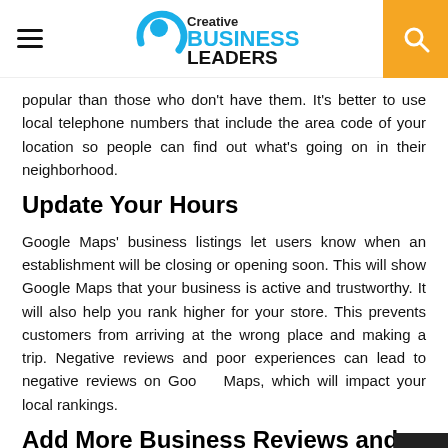Creative Business Leaders
popular than those who don't have them. It's better to use local telephone numbers that include the area code of your location so people can find out what's going on in their neighborhood.
Update Your Hours
Google Maps' business listings let users know when an establishment will be closing or opening soon. This will show Google Maps that your business is active and trustworthy. It will also help you rank higher for your store. This prevents customers from arriving at the wrong place and making a trip. Negative reviews and poor experiences can lead to negative reviews on Google Maps, which will impact your local rankings.
Add More Business Reviews and Citations